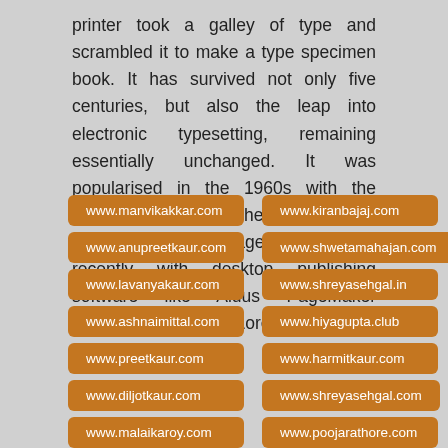printer took a galley of type and scrambled it to make a type specimen book. It has survived not only five centuries, but also the leap into electronic typesetting, remaining essentially unchanged. It was popularised in the 1960s with the release of Letraset sheets containing Lorem Ipsum passages, and more recently with desktop publishing software like Aldus PageMaker including versions of Lorem Ipsum.
www.manvikakkar.com
www.kiranbajaj.com
www.anupreetkaur.com
www.shwetamahajan.com
www.lavanyakaur.com
www.shreyasehgal.in
www.ashnaimittal.com
www.hiyagupta.club
www.preetkaur.com
www.harmitkaur.com
www.diljotkaur.com
www.shreyasehgal.com
www.malaikaroy.com
www.poojarathore.com
www.parmilajha.com
www.anchalkapoor.com
www.aaliyakaur.club
www.lovelyrani.com